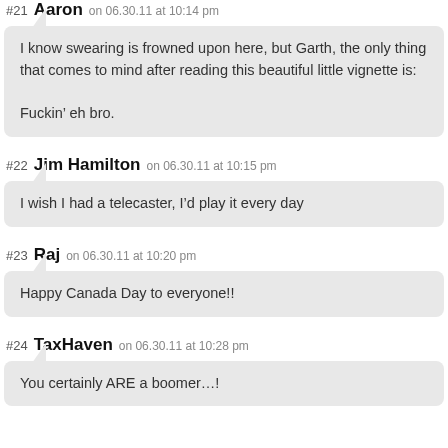#21 Aaron on 06.30.11 at 10:14 pm
I know swearing is frowned upon here, but Garth, the only thing that comes to mind after reading this beautiful little vignette is:

Fuckin’ eh bro.
#22 Jim Hamilton on 06.30.11 at 10:15 pm
I wish I had a telecaster, I’d play it every day
#23 Raj on 06.30.11 at 10:20 pm
Happy Canada Day to everyone!!
#24 TaxHaven on 06.30.11 at 10:28 pm
You certainly ARE a boomer…!